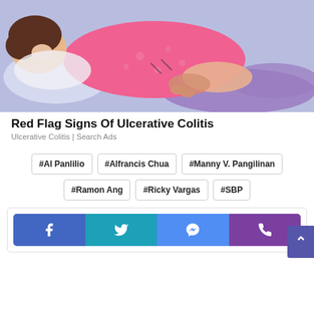[Figure (illustration): Illustration of a person lying on their side holding their abdomen in pain, on a light purple/lavender background. The person is wearing a pink top and purple pants.]
Red Flag Signs Of Ulcerative Colitis
Ulcerative Colitis | Search Ads
#Al Panlilio
#Alfrancis Chua
#Manny V. Pangilinan
#Ramon Ang
#Ricky Vargas
#SBP
[Figure (infographic): Social sharing bar with Facebook, Twitter, Messenger, and phone/viber buttons in blue, cyan, blue, and purple colors respectively.]